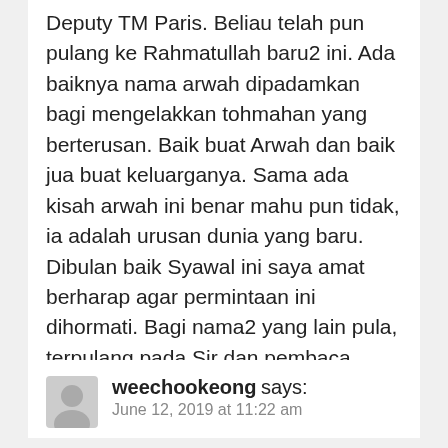Deputy TM Paris. Beliau telah pun pulang ke Rahmatullah baru2 ini. Ada baiknya nama arwah dipadamkan bagi mengelakkan tohmahan yang berterusan. Baik buat Arwah dan baik jua buat keluarganya. Sama ada kisah arwah ini benar mahu pun tidak, ia adalah urusan dunia yang baru. Dibulan baik Syawal ini saya amat berharap agar permintaan ini dihormati. Bagi nama2 yang lain pula, terpulang pada Sir dan pembaca untuk terus menilainya. Sekian. Terima kasih.
Reply
weechookeong says:
June 12, 2019 at 11:22 am